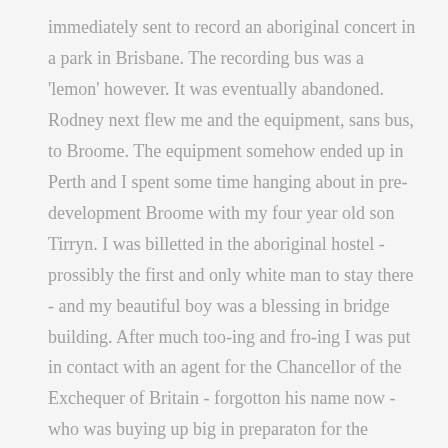immediately sent to record an aboriginal concert in a park in Brisbane. The recording bus was a 'lemon' however. It was eventually abandoned. Rodney next flew me and the equipment, sans bus, to Broome. The equipment somehow ended up in Perth and I spent some time hanging about in pre-development Broome with my four year old son Tirryn. I was billetted in the aboriginal hostel - prossibly the first and only white man to stay there - and my beautiful boy was a blessing in bridge building. After much too-ing and fro-ing I was put in contact with an agent for the Chancellor of the Exchequer of Britain - forgotton his name now - who was buying up big in preparaton for the coming development boom... and it eventuated I was offered a deserted house on the beach out of town, where I set up the recording equipment. There was electricity and fans, and a working toilet, but no stove or furniture, and I cooked outside on a campfire looking down on my own little beach, no humans for miles, and the beach sand